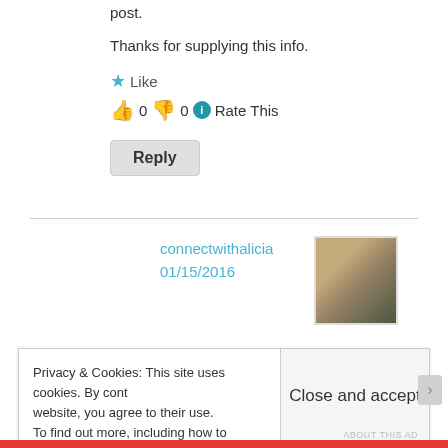post.
Thanks for supplying this info.
★ Like
👍 0 👎 0 ⊙ Rate This
Reply
connectwithalicia
01/15/2016
[Figure (photo): User avatar photo of connectwithalicia, a woman with light brown hair]
Privacy & Cookies: This site uses cookies. By cont website, you agree to their use. To find out more, including how to control cookie
Close and accept